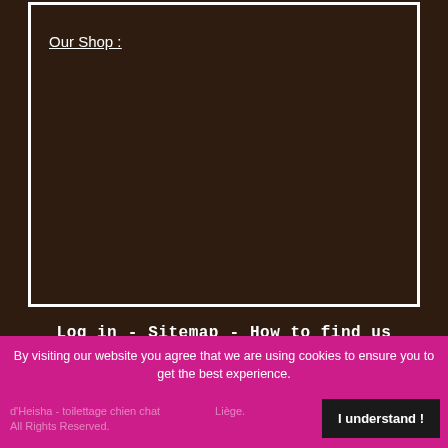[Figure (other): Dark brown framed box with 'Our Shop :' link text inside]
Our Shop :
Log in  -  Sitemap  -  How to find us
By visiting our website you agree that we are using cookies to ensure you to get the best experience.
d'Heisha - toilettage chien chat Liège. All Rights Reserved.
I understand !